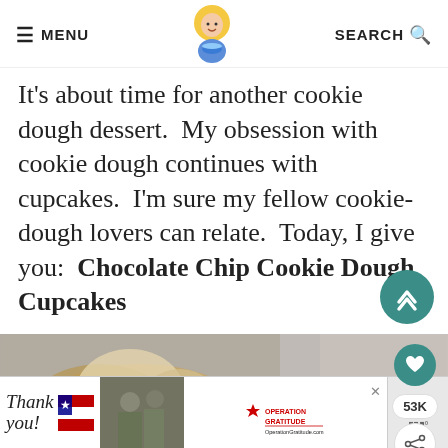≡ MENU  [logo]  SEARCH 🔍
It's about time for another cookie dough dessert.  My obsession with cookie dough continues with cupcakes.  I'm sure my fellow cookie-dough lovers can relate.  Today, I give you:  Chocolate Chip Cookie Dough Cupcakes
[Figure (photo): Close-up photo of chocolate chip cookie dough cupcakes with creamy frosting, blurred background]
[Figure (infographic): Advertisement banner: Thank you with flag graphic, soldiers photo, Operation Gratitude logo]